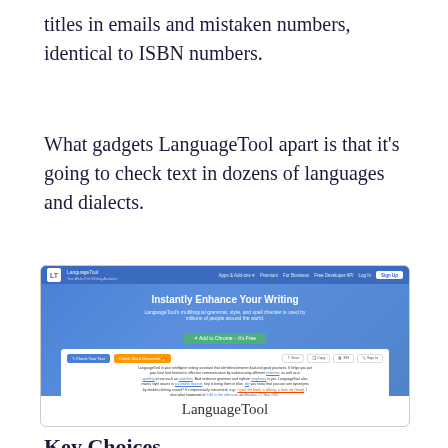titles in emails and mistaken numbers, identical to ISBN numbers.
What gadgets LanguageTool apart is that it's going to check text in dozens of languages and dialects.
[Figure (screenshot): Screenshot of the LanguageTool website homepage showing 'Instantly Enhance Your Writing' headline with navigation bar, hero text, green CTA button, and a text editor preview below with highlighted corrections. Labeled 'LanguageTool' below the image.]
Key Choices